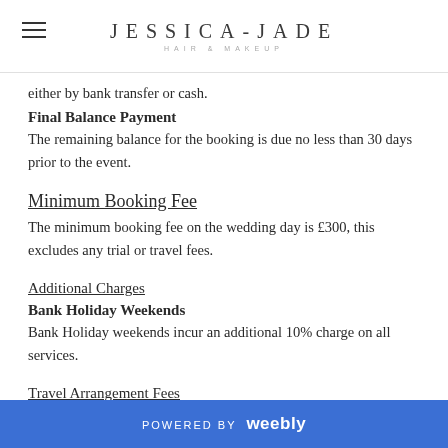JESSICA-JADE HAIR & MAKEUP
either by bank transfer or cash.
Final Balance Payment
The remaining balance for the booking is due no less than 30 days prior to the event.
Minimum Booking Fee
The minimum booking fee on the wedding day is £300, this excludes any trial or travel fees.
Additional Charges
Bank Holiday Weekends
Bank Holiday weekends incur an additional 10% charge on all services.
Travel Arrangement Fees
Any travel outside of Jessica-Jade's local area is chargeable.
POWERED BY weebly